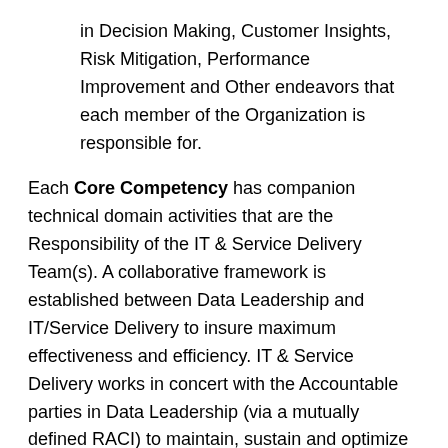in Decision Making, Customer Insights, Risk Mitigation, Performance Improvement and Other endeavors that each member of the Organization is responsible for.
Each Core Competency has companion technical domain activities that are the Responsibility of the IT & Service Delivery Team(s). A collaborative framework is established between Data Leadership and IT/Service Delivery to insure maximum effectiveness and efficiency. IT & Service Delivery works in concert with the Accountable parties in Data Leadership (via a mutually defined RACI) to maintain, sustain and optimize the underlying infrastructure and delivery solutions such that the Strategic Value of the Data is maintained/enhanced and that all Information & Analytics competencies can be fully realized. This approach will typically require new